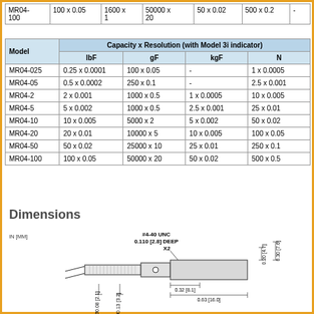| Model | lbF | gF | kgF | N |  |
| --- | --- | --- | --- | --- | --- |
| MR04-100 | 100 x 0.05 | 1600 x 1 | 50000 x 20 | 50 x 0.02 | 500 x 0.2 | - |
| Model | lbF | gF | kgF | N |
| --- | --- | --- | --- | --- |
| MR04-025 | 0.25 x 0.0001 | 100 x 0.05 | - | 1 x 0.0005 |
| MR04-05 | 0.5 x 0.0002 | 250 x 0.1 | - | 2.5 x 0.001 |
| MR04-2 | 2 x 0.001 | 1000 x 0.5 | 1 x 0.0005 | 10 x 0.005 |
| MR04-5 | 5 x 0.002 | 1000 x 0.5 | 2.5 x 0.001 | 25 x 0.01 |
| MR04-10 | 10 x 0.005 | 5000 x 2 | 5 x 0.002 | 50 x 0.02 |
| MR04-20 | 20 x 0.01 | 10000 x 5 | 10 x 0.005 | 100 x 0.05 |
| MR04-50 | 50 x 0.02 | 25000 x 10 | 25 x 0.01 | 250 x 0.1 |
| MR04-100 | 100 x 0.05 | 50000 x 20 | 50 x 0.02 | 500 x 0.5 |
Dimensions
[Figure (engineering-diagram): Engineering dimension drawing of MR04 load cell showing #4-40 UNC 0.110 [2.8] DEEP X2 threaded holes, dimensions: 0.20 [4.7], 0.30 [7.6], 0.08 [2.1], 0.13 [3.2], 0.32 [8.1], 0.63 [16.0] in IN [MM]]